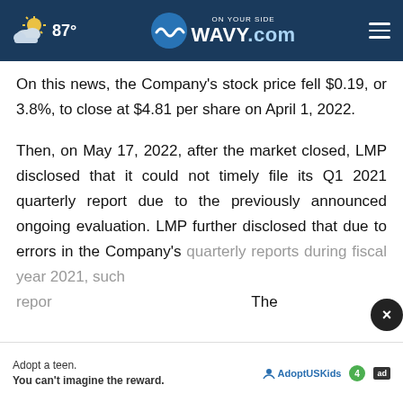87° | ON YOUR SIDE WAVY.com
On this news, the Company's stock price fell $0.19, or 3.8%, to close at $4.81 per share on April 1, 2022.
Then, on May 17, 2022, after the market closed, LMP disclosed that it could not timely file its Q1 2021 quarterly report due to the previously announced ongoing evaluation. LMP further disclosed that due to errors in the Company's quarterly reports during fiscal year 2021, such repor[ts would need to be restated]. The
[Figure (screenshot): Ad overlay: Adopt a teen. You can't imagine the reward. AdoptUSKids logo and ad badges shown at bottom.]